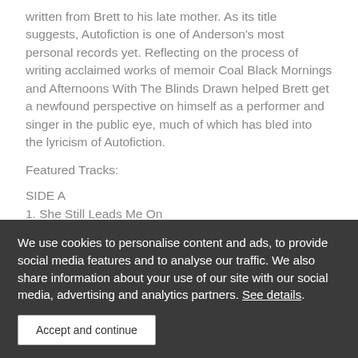written from Brett to his late mother. As its title suggests, Autofiction is one of Anderson's most personal records yet. Reflecting on the process of writing acclaimed works of memoir Coal Black Mornings and Afternoons With The Blinds Drawn helped Brett get a newfound perspective on himself as a performer and singer in the public eye, much of which has bled into the lyricism of Autofiction.
Featured Tracks:
SIDE A
1. She Still Leads Me On
2. Personality Disorder
3. 15 Again
4. The Only Way for in Love You
5. That Boy on the Stage
6. Chilcompton Chaos
We use cookies to personalise content and ads, to provide social media features and to analyse our traffic. We also share information about your use of our site with our social media, advertising and analytics partners. See details.
7. Shadow Self